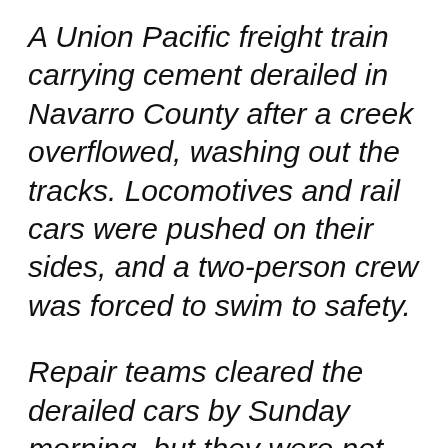A Union Pacific freight train carrying cement derailed in Navarro County after a creek overflowed, washing out the tracks. Locomotives and rail cars were pushed on their sides, and a two-person crew was forced to swim to safety.
Repair teams cleared the derailed cars by Sunday morning, but they were not expected to be righted for several hours and a locomotive was not seen being moved until later in the day, Union Pacific